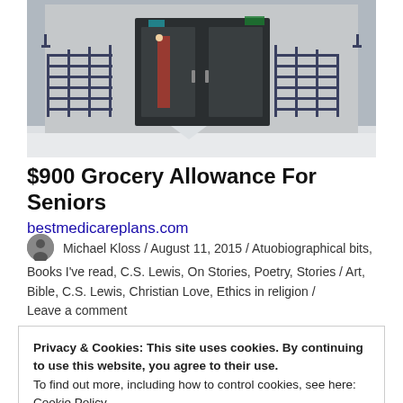[Figure (photo): Exterior of a building entrance with metal railing/fence, dark doors, and snow on the ground. A person is partially visible near the entrance.]
$900 Grocery Allowance For Seniors
bestmedicareplans.com
Michael Kloss / August 11, 2015 / Atuobiographical bits, Books I've read, C.S. Lewis, On Stories, Poetry, Stories / Art, Bible, C.S. Lewis, Christian Love, Ethics in religion / Leave a comment
Privacy & Cookies: This site uses cookies. By continuing to use this website, you agree to their use.
To find out more, including how to control cookies, see here:
Cookie Policy
Close and accept
I have finished many things today